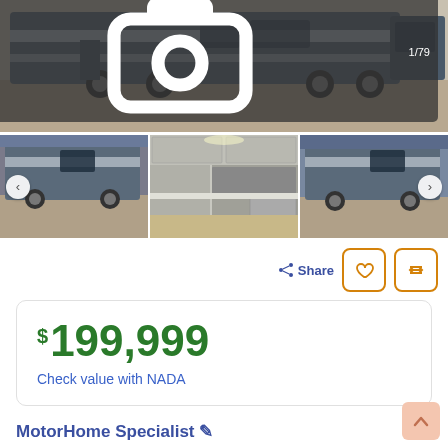[Figure (photo): Large RV motorhome photo, exterior side view on gravel, with photo counter badge showing 1/79]
[Figure (photo): Thumbnail: RV motorhome side exterior view]
[Figure (photo): Thumbnail: RV interior kitchen with cabinets, microwave, refrigerator]
[Figure (photo): Thumbnail: RV motorhome exterior rear three-quarter view]
Share
$199,999
Check value with NADA
MotorHome Specialist